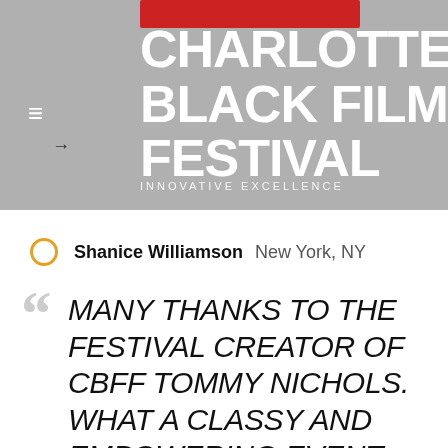[Figure (screenshot): Charlotte Black Film Festival website header with logo text, red bar accent, menu icon, and gray background with partial photo]
CHARLOTTE BLACK FILM FESTIVAL
INNOVATIVE EXCELLENCE
Shanice Williamson  New York, NY
"MANY THANKS TO THE FESTIVAL CREATOR OF CBFF TOMMY NICHOLS. WHAT A CLASSY AND EMPOWERING EVENT. JUST THE FESTIVAL I NEEDED TO KEEP ME PUSHING TOWARDS